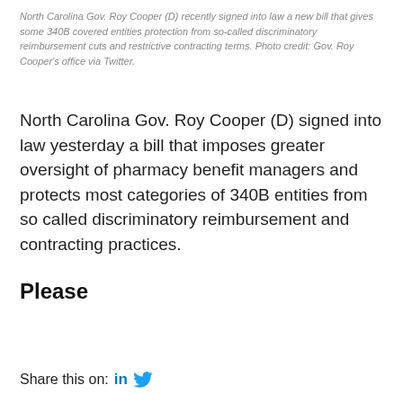North Carolina Gov. Roy Cooper (D) recently signed into law a new bill that gives some 340B covered entities protection from so-called discriminatory reimbursement cuts and restrictive contracting terms. Photo credit: Gov. Roy Cooper's office via Twitter.
North Carolina Gov. Roy Cooper (D) signed into law yesterday a bill that imposes greater oversight of pharmacy benefit managers and protects most categories of 340B entities from so called discriminatory reimbursement and contracting practices.
Please
Read More »
Share this on:  in  [Twitter]